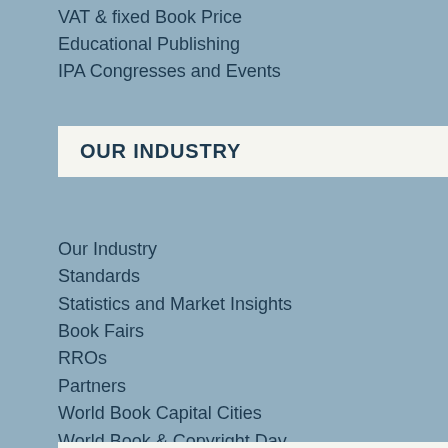VAT & fixed Book Price
Educational Publishing
IPA Congresses and Events
OUR INDUSTRY
Our Industry
Standards
Statistics and Market Insights
Book Fairs
RROs
Partners
World Book Capital Cities
World Book & Copyright Day
Market Insights